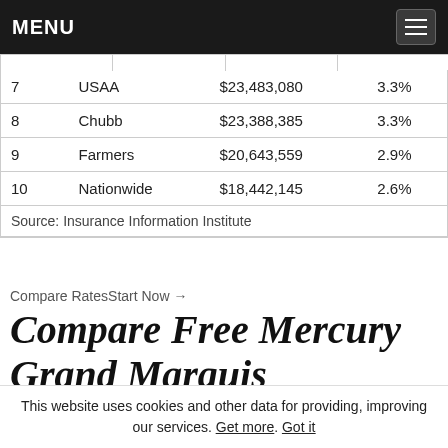MENU
| Rank | Company | Premium | Market Share |
| --- | --- | --- | --- |
| 7 | USAA | $23,483,080 | 3.3% |
| 8 | Chubb | $23,388,385 | 3.3% |
| 9 | Farmers | $20,643,559 | 2.9% |
| 10 | Nationwide | $18,442,145 | 2.6% |
| Source: Insurance Information Institute |  |  |  |
Compare RatesStart Now →
Compare Free Mercury Grand Marquis Insurance Quotes Online
Save money by comparing Mercury Grand Marquis
This website uses cookies and other data for providing, improving our services. Get more. Got it